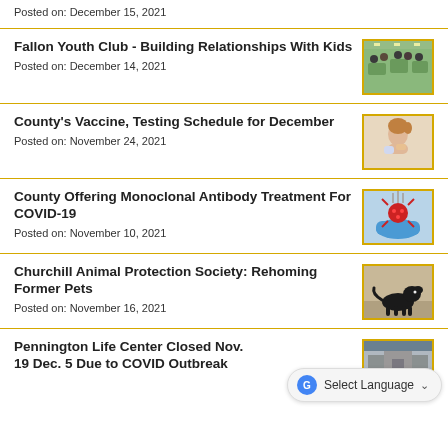Posted on: December 15, 2021
Fallon Youth Club - Building Relationships With Kids
Posted on: December 14, 2021
[Figure (photo): People gathered around tables in a community room, youth club setting]
County's Vaccine, Testing Schedule for December
Posted on: November 24, 2021
[Figure (photo): Young girl looking at her arm, vaccine-related image]
County Offering Monoclonal Antibody Treatment For COVID-19
Posted on: November 10, 2021
[Figure (photo): Gloved hand holding a coronavirus model with syringes]
Churchill Animal Protection Society: Rehoming Former Pets
Posted on: November 16, 2021
[Figure (photo): Black dog standing outdoors]
Pennington Life Center Closed Nov. 19 Dec. 5 Due to COVID Outbreak
[Figure (photo): Partial thumbnail image of a building]